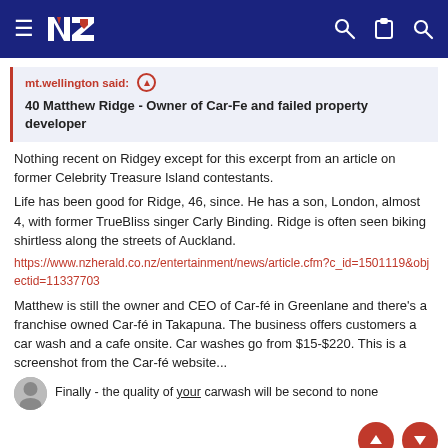NZ Herald navigation bar with logo, hamburger menu, key icon, clipboard icon, search icon
mt.wellington said: ↑
40 Matthew Ridge - Owner of Car-Fe and failed property developer
Nothing recent on Ridgey except for this excerpt from an article on former Celebrity Treasure Island contestants.
Life has been good for Ridge, 46, since. He has a son, London, almost 4, with former TrueBliss singer Carly Binding. Ridge is often seen biking shirtless along the streets of Auckland.
https://www.nzherald.co.nz/entertainment/news/article.cfm?c_id=1501119&objectid=11337703
Matthew is still the owner and CEO of Car-fé in Greenlane and there's a franchise owned Car-fé in Takapuna. The business offers customers a car wash and a cafe onsite. Car washes go from $15-$220. This is a screenshot from the Car-fé website...
Finally - the quality of your carwash will be second to none